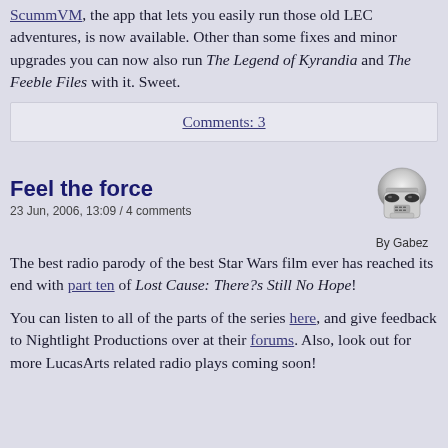ScummVM, the app that lets you easily run those old LEC adventures, is now available. Other than some fixes and minor upgrades you can now also run The Legend of Kyrandia and The Feeble Files with it. Sweet.
Comments: 3
Feel the force
23 Jun, 2006, 13:09 / 4 comments
[Figure (illustration): Avatar image of a Stormtrooper helmet, labeled 'By Gabez']
The best radio parody of the best Star Wars film ever has reached its end with part ten of Lost Cause: There?s Still No Hope!
You can listen to all of the parts of the series here, and give feedback to Nightlight Productions over at their forums. Also, look out for more LucasArts related radio plays coming soon!